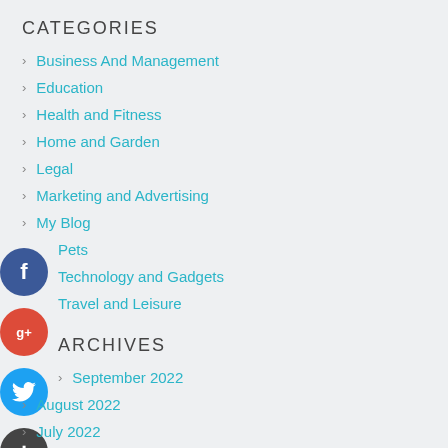CATEGORIES
Business And Management
Education
Health and Fitness
Home and Garden
Legal
Marketing and Advertising
My Blog
Pets
Technology and Gadgets
Travel and Leisure
ARCHIVES
September 2022
August 2022
July 2022